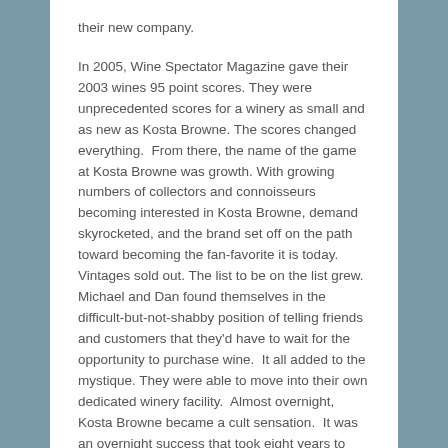their new company.
In 2005, Wine Spectator Magazine gave their 2003 wines 95 point scores. They were unprecedented scores for a winery as small and as new as Kosta Browne. The scores changed everything.  From there, the name of the game at Kosta Browne was growth. With growing numbers of collectors and connoisseurs becoming interested in Kosta Browne, demand skyrocketed, and the brand set off on the path toward becoming the fan-favorite it is today. Vintages sold out. The list to be on the list grew.  Michael and Dan found themselves in the difficult-but-not-shabby position of telling friends and customers that they'd have to wait for the opportunity to purchase wine.  It all added to the mystique. They were able to move into their own dedicated winery facility.  Almost overnight, Kosta Browne became a cult sensation.  It was an overnight success that took eight years to happen. The rest, as they say, is history.